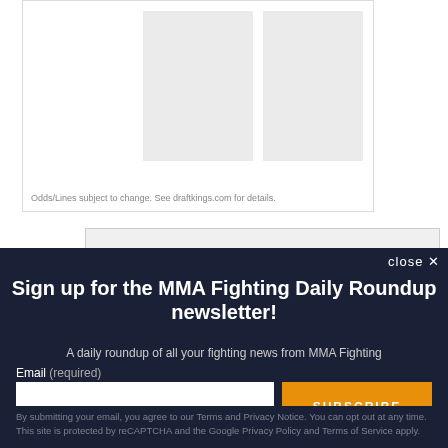[Figure (screenshot): DraftKings advertisement with placeholder images and footnote text]
Odds/Lines subject to change. See draftkings.com for details.
[Figure (screenshot): Samsung advertisement showing logo and text 'Get a free storage upgrade and case with S Pen']
close ×
Sign up for the MMA Fighting Daily Roundup newsletter!
A daily roundup of all your fighting news from MMA Fighting
Email (required)
SUBSCRIBE
By submitting your email, you agree to our Terms and Privacy Notice. You can opt out at any time. This site is protected by reCAPTCHA and the Google Privacy Policy and Terms of Service apply.